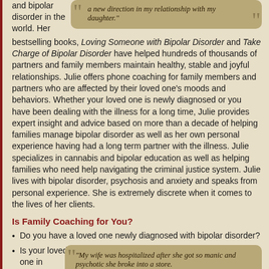and bipolar disorder in the world. Her bestselling books, Loving Someone with Bipolar Disorder and Take Charge of Bipolar Disorder have helped hundreds of thousands of partners and family members maintain healthy, stable and joyful relationships. Julie offers phone coaching for family members and partners who are affected by their loved one's moods and behaviors. Whether your loved one is newly diagnosed or you have been dealing with the illness for a long time, Julie provides expert insight and advice based on more than a decade of helping families manage bipolar disorder as well as her own personal experience having had a long term partner with the illness. Julie specializes in cannabis and bipolar education as well as helping families who need help navigating the criminal justice system. Julie lives with bipolar disorder, psychosis and anxiety and speaks from personal experience. She is extremely discrete when it comes to the lives of her clients.
[Figure (other): Quote box with italic text: 'a new direction in my relationship with my daughter.']
Is Family Coaching for You?
Do you have a loved one newly diagnosed with bipolar disorder?
Is your loved one in
[Figure (other): Quote box with italic text: 'My wife was hospitalized after she got so manic and psychotic she broke into a store.']